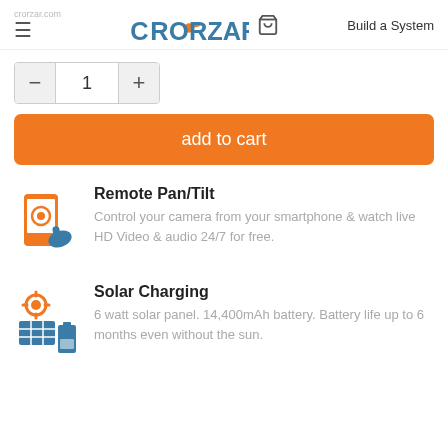CRORZAR — Build a System
1
add to cart
Remote Pan/Tilt
Control your camera from your smartphone & watch live HD Video & audio 24/7 for free.
Solar Charging
6 watt solar panel. 14,400mAh battery. Battery life up to 6 months even without the sun.